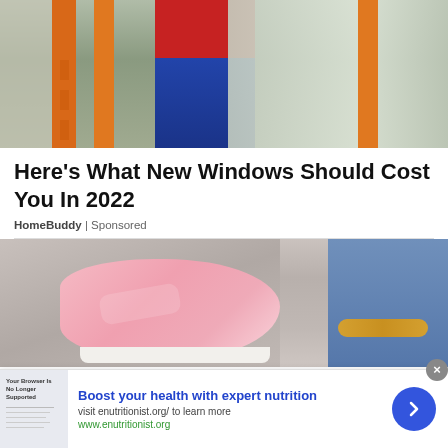[Figure (photo): People working on exterior house window installation with orange ladders, person in jeans and red shirt visible]
Here's What New Windows Should Cost You In 2022
HomeBuddy | Sponsored
[Figure (photo): Close-up of woman's feet wearing pink flat sandals with white sole, gold chain anklet, standing near brick wall, wearing jeans]
[Figure (photo): Advertisement banner: Boost your health with expert nutrition – visit enutritionist.org/ to learn more – www.enutritionist.org]